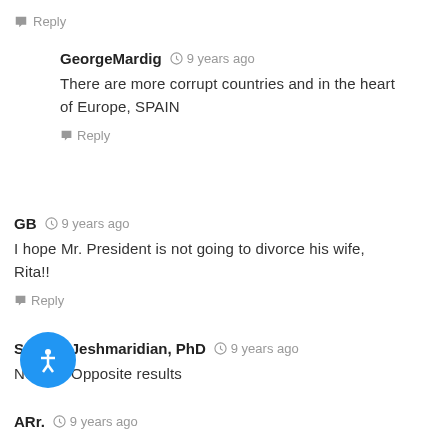Reply
GeorgeMardig · 9 years ago
There are more corrupt countries and in the heart of Europe, SPAIN
Reply
GB · 9 years ago
I hope Mr. President is not going to divorce his wife, Rita!!
Reply
Samvel Jeshmaridian, PhD · 9 years ago
No use. Opposite results
ARr. · 9 years ago